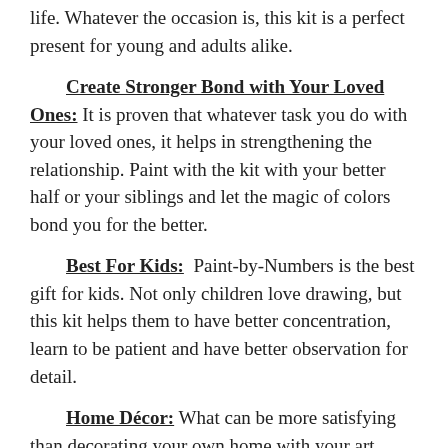life. Whatever the occasion is, this kit is a perfect present for young and adults alike.
Create Stronger Bond with Your Loved Ones: It is proven that whatever task you do with your loved ones, it helps in strengthening the relationship. Paint with the kit with your better half or your siblings and let the magic of colors bond you for the better.
Best For Kids: Paint-by-Numbers is the best gift for kids. Not only children love drawing, but this kit helps them to have better concentration, learn to be patient and have better observation for detail.
Home Décor: What can be more satisfying than decorating your own home with your art. Paint-by-Numbers kit is for those who want to beautify their homes or workplaces with their own hard work. Paint